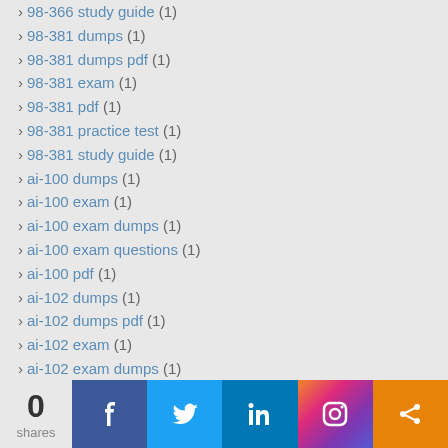98-366 study guide (1)
98-381 dumps (1)
98-381 dumps pdf (1)
98-381 exam (1)
98-381 pdf (1)
98-381 practice test (1)
98-381 study guide (1)
ai-100 dumps (1)
ai-100 exam (1)
ai-100 exam dumps (1)
ai-100 exam questions (1)
ai-100 pdf (1)
ai-102 dumps (1)
ai-102 dumps pdf (1)
ai-102 exam (1)
ai-102 exam dumps (1)
ai-102 exam questions (1)
ai-102 pdf (1)
ai-900 dumps (1)
ai-900 dumps pdf (1)
ai-900 exam (1)
ai-900 exam quesions (1)
ai-90... (1)
ai-10... (1)